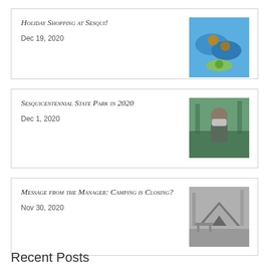[Figure (photo): Photo of blue hats with logo merchandise at Sesqui]
Holiday Shopping at Sesqui!
Dec 19, 2020
[Figure (photo): Photo of a person wearing a mask at Sesquicentennial State Park]
Sesquicentennial State Park in 2020
Dec 1, 2020
[Figure (photo): Black and white photo of a tent at a campsite]
Message from the Manager: Camping is Closing?
Nov 30, 2020
Recent Posts